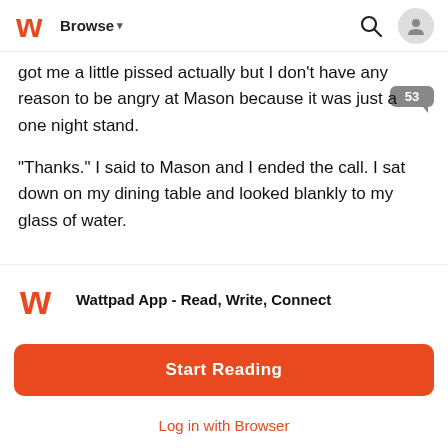Browse
got me a little pissed actually but I don't have any reason to be angry at Mason because it was just a one night stand.
"Thanks." I said to Mason and I ended the call. I sat down on my dining table and looked blankly to my glass of water.
Something about that girl last night that I just can't forget. I don't think it's about her body or how good the experience was but how she acted and treated me. Something off about her and why do I really want to know about her more.
I called the bartender that happened to serve us because I knew him. I always go there every week so I know some people who
Wattpad App - Read, Write, Connect
Start Reading
Log in with Browser